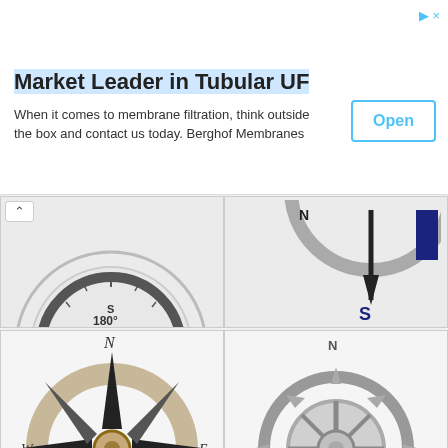[Figure (screenshot): Advertisement banner for Berghof Membranes with title 'Market Leader in Tubular UF', body text 'When it comes to membrane filtration, think outside the box and contact us today. Berghof Membranes', and an Open button.]
[Figure (illustration): Grid of compass rose and compass illustrations. Top row: partial compass showing 180 degrees (S), partial navy compass showing S. Second row: decorative wind rose with N/W/E/S labels and tan/black 8-point star, silver ship wheel compass with N label. Bottom row: partial compass images cropped.]